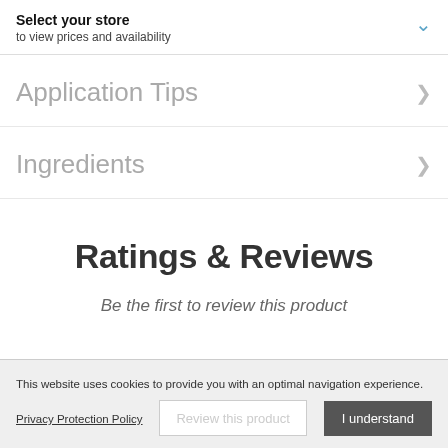Select your store
to view prices and availability
Application Tips
Ingredients
Ratings & Reviews
Be the first to review this product
This website uses cookies to provide you with an optimal navigation experience.
Privacy Protection Policy
I understand